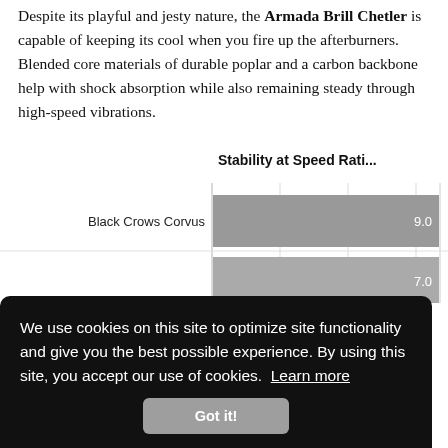Despite its playful and jesty nature, the Armada Brill Chetler is capable of keeping its cool when you fire up the afterburners. Blended core materials of durable poplar and a carbon backbone help with shock absorption while also remaining steady through high-speed vibrations.
[Figure (bar-chart): Stability at Speed Rati...]
We use cookies on this site to optimize site functionality and give you the best possible experience. By using this site, you accept our use of cookies. Learn more